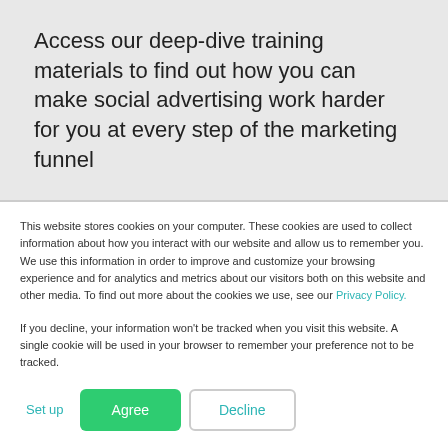Access our deep-dive training materials to find out how you can make social advertising work harder for you at every step of the marketing funnel
This website stores cookies on your computer. These cookies are used to collect information about how you interact with our website and allow us to remember you. We use this information in order to improve and customize your browsing experience and for analytics and metrics about our visitors both on this website and other media. To find out more about the cookies we use, see our Privacy Policy.
If you decline, your information won't be tracked when you visit this website. A single cookie will be used in your browser to remember your preference not to be tracked.
Set up   Agree   Decline